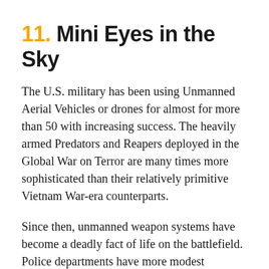11. Mini Eyes in the Sky
The U.S. military has been using Unmanned Aerial Vehicles or drones for almost for more than 50 with increasing success. The heavily armed Predators and Reapers deployed in the Global War on Terror are many times more sophisticated than their relatively primitive Vietnam War-era counterparts.
Since then, unmanned weapon systems have become a deadly fact of life on the battlefield. Police departments have more modest ambitions as they move to integrate small UAVs into law enforcement operations.
Jurisdictions wrestle with the pros and cons of using drones as privacy concerns can be a real issue.